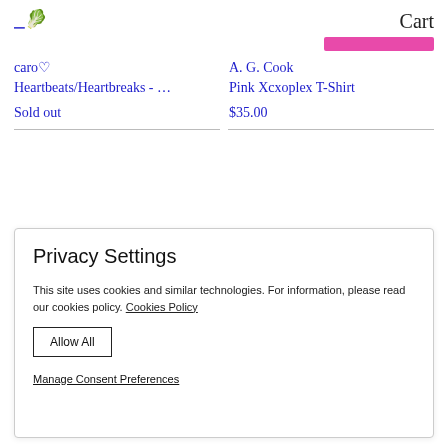Cart
caro♡
Heartbeats/Heartbreaks - …
Sold out
A. G. Cook
Pink Xcxoplex T-Shirt
$35.00
Privacy Settings
This site uses cookies and similar technologies. For information, please read our cookies policy. Cookies Policy
Allow All
Manage Consent Preferences